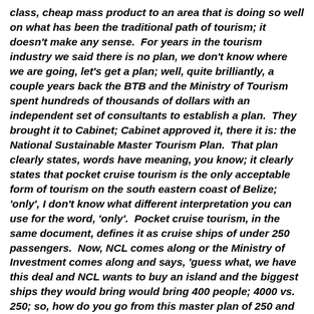class, cheap mass product to an area that is doing so well on what has been the traditional path of tourism; it doesn't make any sense.  For years in the tourism industry we said there is no plan, we don't know where we are going, let's get a plan; well, quite brilliantly, a couple years back the BTB and the Ministry of Tourism spent hundreds of thousands of dollars with an independent set of consultants to establish a plan.  They brought it to Cabinet; Cabinet approved it, there it is: the National Sustainable Master Tourism Plan.  That plan clearly states, words have meaning, you know; it clearly states that pocket cruise tourism is the only acceptable form of tourism on the south eastern coast of Belize; 'only', I don't know what different interpretation you can use for the word, 'only'.  Pocket cruise tourism, in the same document, defines it as cruise ships of under 250 passengers.  Now, NCL comes along or the Ministry of Investment comes along and says, 'guess what, we have this deal and NCL wants to buy an island and the biggest ships they would bring would bring 400 people; 4000 vs. 250; so, how do you go from this master plan of 250 and under to suddenly having ships of four thousand people and you the Ministry of Tourism saying, this is a good thing.  The Minister of Tourism and the CEO in the Ministry of Tourism have been utterly silent on this issue.  This is a huge issue for